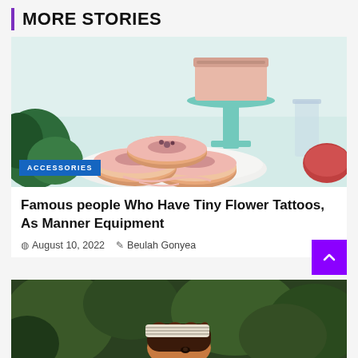MORE STORIES
[Figure (photo): Food photography showing pink-glazed donuts stacked on a white plate with a mint green cake stand holding a cake in the background, with green foliage and glassware visible. Blue 'ACCESSORIES' badge overlays the bottom left of the image.]
Famous people Who Have Tiny Flower Tattoos, As Manner Equipment
August 10, 2022   Beulah Gonyea
[Figure (photo): Partial view of a woman with braided hair lying among lush green plants/foliage, partially cropped at the bottom of the page.]